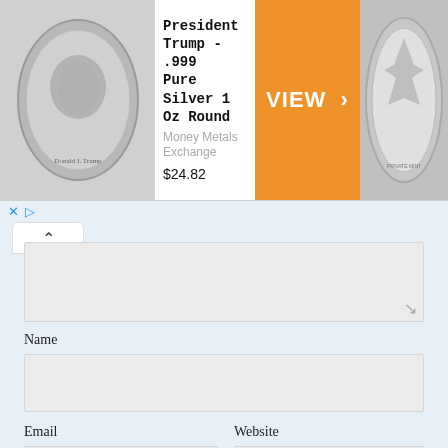[Figure (infographic): Advertisement banner: President Trump .999 Pure Silver 1 Oz Round, Money Metals Exchange, $24.82, with orange VIEW > button, silver coin images on left and right]
Name
Email
Website
SUBMIT